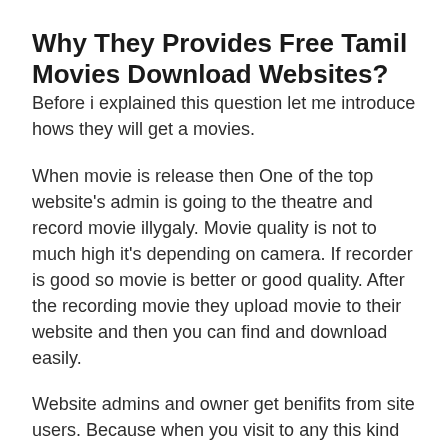Why They Provides Free Tamil Movies Download Websites?
Before i explained this question let me introduce hows they will get a movies.
When movie is release then One of the top website’s admin is going to the theatre and record movie illygaly. Movie quality is not to much high it’s depending on camera. If recorder is good so movie is better or good quality. After the recording movie they upload movie to their website and then you can find and download easily.
Website admins and owner get benifits from site users. Because when you visit to any this kind of website you faced many ads that can be generated revenue for owners and admins. And